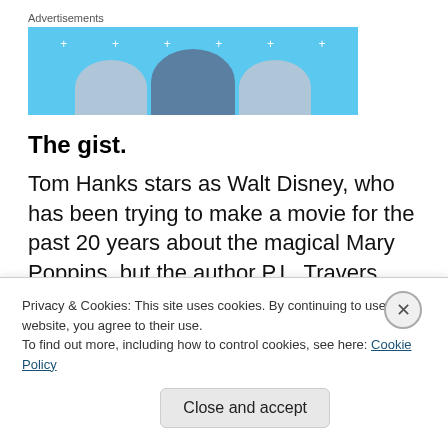[Figure (infographic): Advertisement banner with sky blue background, showing circular shapes resembling heads/figures at the bottom, and small star/sparkle decorations at top. Labeled 'Advertisements' above.]
The gist.
Tom Hanks stars as Walt Disney, who has been trying to make a movie for the past 20 years about the magical Mary Poppins, but the author P.L. Travers (Emma Thompson) refuses to sign over the rights. Finally, Disney...
Privacy & Cookies: This site uses cookies. By continuing to use this website, you agree to their use.
To find out more, including how to control cookies, see here: Cookie Policy
Close and accept